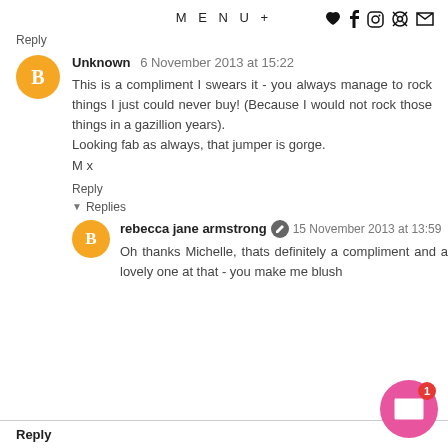MENU+
Reply
Unknown  6 November 2013 at 15:22
This is a compliment I swears it - you always manage to rock things I just could never buy! (Because I would not rock those things in a gazillion years).
Looking fab as always, that jumper is gorge.
M x
Reply
Replies
rebecca jane armstrong  15 November 2013 at 13:59
Oh thanks Michelle, thats definitely a compliment and a lovely one at that - you make me blush
Reply